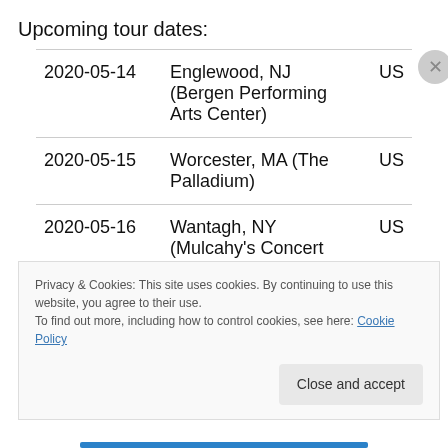Upcoming tour dates:
| Date | Venue | Country |
| --- | --- | --- |
| 2020-05-14 | Englewood, NJ (Bergen Performing Arts Center) | US |
| 2020-05-15 | Worcester, MA (The Palladium) | US |
| 2020-05-16 | Wantagh, NY (Mulcahy's Concert Hall) | US |
Privacy & Cookies: This site uses cookies. By continuing to use this website, you agree to their use. To find out more, including how to control cookies, see here: Cookie Policy
Close and accept